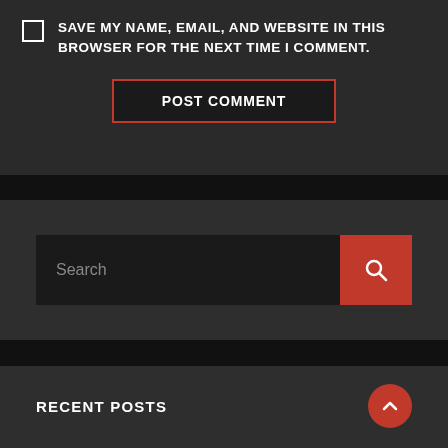SAVE MY NAME, EMAIL, AND WEBSITE IN THIS BROWSER FOR THE NEXT TIME I COMMENT.
POST COMMENT
[Figure (screenshot): Search bar with dark background input field and red search button with magnifying glass icon]
RECENT POSTS
Shadow Model Horses